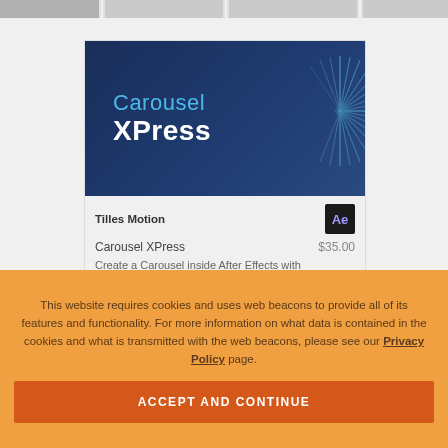[Figure (screenshot): Top navigation bar with grey tabs]
[Figure (screenshot): Carousel XPress product card showing dark blue banner with 'Carousel XPress' title and starburst graphic, product info showing Tilles Motion maker, After Effects badge, $35.00 price, and partial description]
This website requires cookies and uses web beacons to provide all of its features and functionality. For more information on what data is contained in the cookies and what is transmitted with the web beacons, please see our Privacy Policy page.
ACCEPT AND CONTINUE